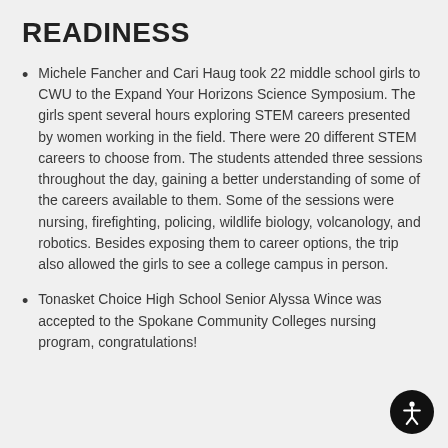READINESS
Michele Fancher and Cari Haug took 22 middle school girls to CWU to the Expand Your Horizons Science Symposium. The girls spent several hours exploring STEM careers presented by women working in the field. There were 20 different STEM careers to choose from. The students attended three sessions throughout the day, gaining a better understanding of some of the careers available to them. Some of the sessions were nursing, firefighting, policing, wildlife biology, volcanology, and robotics. Besides exposing them to career options, the trip also allowed the girls to see a college campus in person.
Tonasket Choice High School Senior Alyssa Wince was accepted to the Spokane Community Colleges nursing program, congratulations!